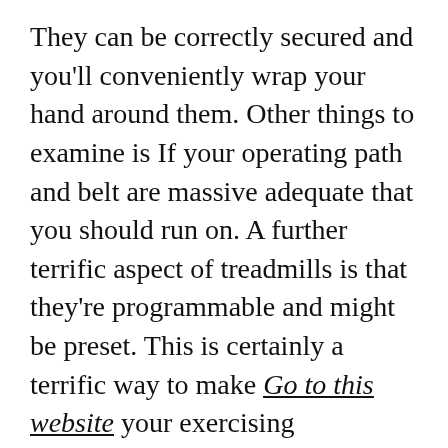They can be correctly secured and you'll conveniently wrap your hand around them. Other things to examine is If your operating path and belt are massive adequate that you should run on. A further terrific aspect of treadmills is that they're programmable and might be preset. This is certainly a terrific way to make Go to this website your exercising knowledge much more pleasant. Also a bottle holder and magazine rack are handy conveniences when carrying out a day by day exercise routine.
Just take into account the level of Room It's important to commit towards your